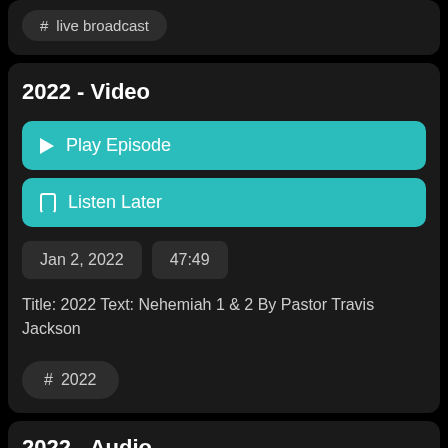# live broadcast
2022 - Video
Play Episode
Listen Later
Jan 2, 2022
47:49
Title: 2022 Text: Nehemiah 1 & 2 By Pastor Travis Jackson
# 2022
2022 - Audio